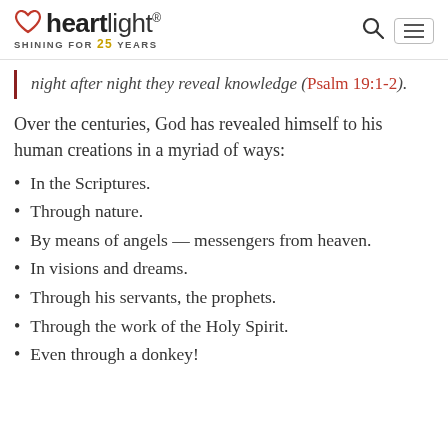heartlight® SHINING FOR 25 YEARS
night after night they reveal knowledge (Psalm 19:1-2).
Over the centuries, God has revealed himself to his human creations in a myriad of ways:
In the Scriptures.
Through nature.
By means of angels — messengers from heaven.
In visions and dreams.
Through his servants, the prophets.
Through the work of the Holy Spirit.
Even through a donkey!